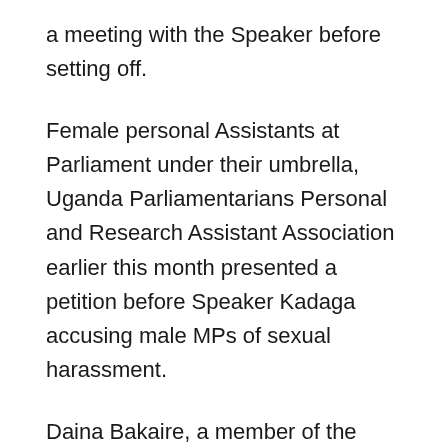a meeting with the Speaker before setting off.
Female personal Assistants at Parliament under their umbrella, Uganda Parliamentarians Personal and Research Assistant Association earlier this month presented a petition before Speaker Kadaga accusing male MPs of sexual harassment.
Daina Bakaire, a member of the Uganda Parliamentarians Personal and Research Assistants Association revealed that many women working for parliamentarians are forced into sex for them to retain their jobs.
Madam speaker on behalf of my fellow